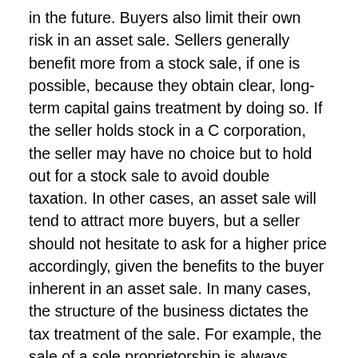in the future. Buyers also limit their own risk in an asset sale. Sellers generally benefit more from a stock sale, if one is possible, because they obtain clear, long-term capital gains treatment by doing so. If the seller holds stock in a C corporation, the seller may have no choice but to hold out for a stock sale to avoid double taxation. In other cases, an asset sale will tend to attract more buyers, but a seller should not hesitate to ask for a higher price accordingly, given the benefits to the buyer inherent in an asset sale. In many cases, the structure of the business dictates the tax treatment of the sale. For example, the sale of a sole proprietorship is always treated as an asset sale.